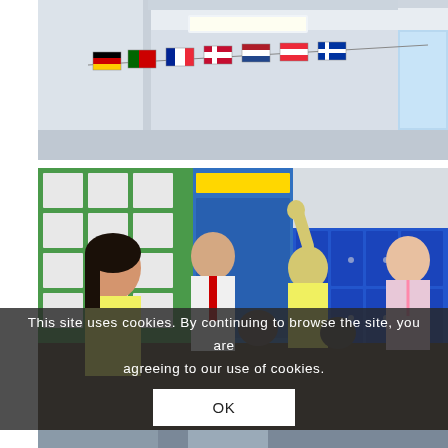[Figure (photo): A classroom ceiling with colorful international flags hanging in a row, including German, French, Portuguese, Danish, Dutch and other European country flags. The room has white ceilings, fluorescent lighting, and a window.]
[Figure (photo): A classroom scene with students in yellow uniforms, a male teacher in a white shirt and red tie, and a female teacher on the right wearing a lanyard. One student is raising her fist enthusiastically. Blue lockers are visible in the background along with educational posters on the wall.]
This site uses cookies. By continuing to browse the site, you are agreeing to our use of cookies.
OK